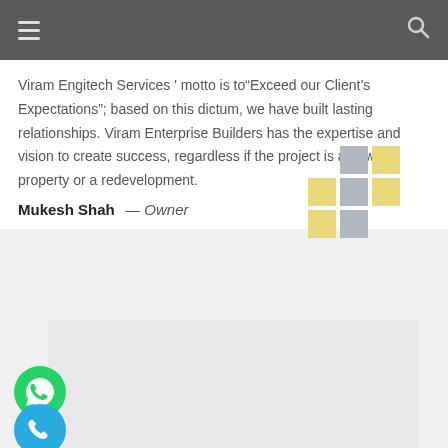Navigation bar with hamburger menu and search icon
Viram Engitech Services ' motto is to“Exceed our Client’s Expectations”; based on this dictum, we have built lasting relationships. Viram Enterprise Builders has the expertise and vision to create success, regardless if the project is a new property or a redevelopment.
Mukesh Shah — Owner
[Figure (logo): 3x3 grid logo with alternating gray and yellow squares]
[Figure (illustration): Light gray card/box placeholder area]
[Figure (illustration): Green WhatsApp icon circle with phone handset]
[Figure (illustration): Blue phone call icon circle with phone handset]